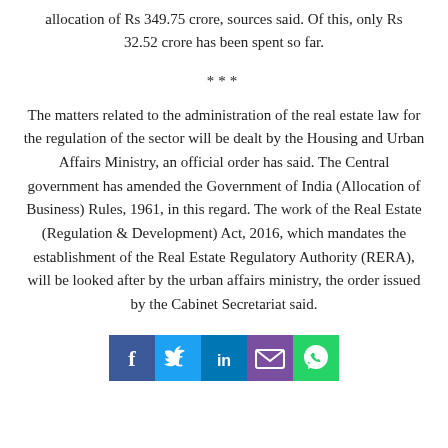allocation of Rs 349.75 crore, sources said. Of this, only Rs 32.52 crore has been spent so far.
***
The matters related to the administration of the real estate law for the regulation of the sector will be dealt by the Housing and Urban Affairs Ministry, an official order has said. The Central government has amended the Government of India (Allocation of Business) Rules, 1961, in this regard. The work of the Real Estate (Regulation & Development) Act, 2016, which mandates the establishment of the Real Estate Regulatory Authority (RERA), will be looked after by the urban affairs ministry, the order issued by the Cabinet Secretariat said.
[Figure (infographic): Social media sharing icons: Facebook (blue), Twitter (light blue), LinkedIn (dark blue), Email (purple), WhatsApp (green)]